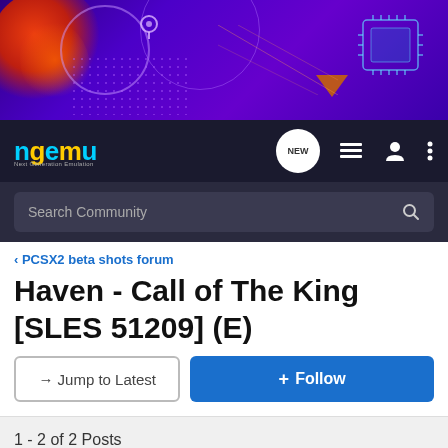[Figure (screenshot): ngemu forum website banner with purple/dark background, decorative elements including an orange continent shape, location pin, circles, chip graphic, and triangle]
[Figure (screenshot): ngemu navigation bar with logo, NEW button, list icon, user icon, and menu icon on dark background]
[Figure (screenshot): Search Community search bar on dark background]
< PCSX2 beta shots forum
Haven - Call of The King [SLES 51209] (E)
→ Jump to Latest   + Follow
1 - 2 of 2 Posts